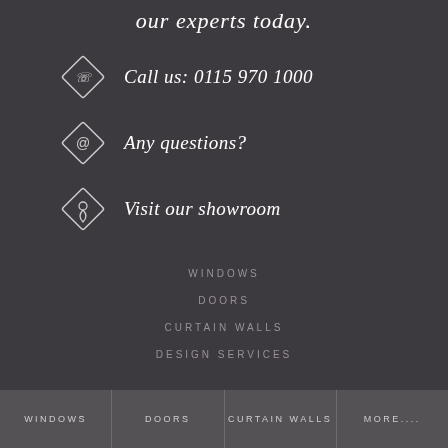our experts today.
Call us: 0115 970 1000
Any questions?
Visit our showroom
WINDOWS
DOORS
CURTAIN WALLS
DESIGN SERVICES
WINDOWS  DOORS  CURTAIN WALLS  MORE....